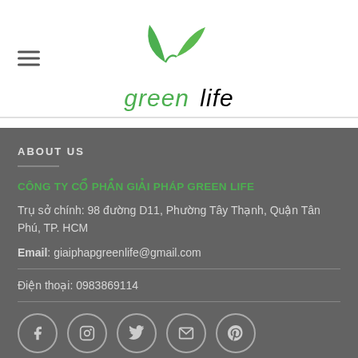[Figure (logo): Green Life company logo with green leaf icon and italic text 'green life']
ABOUT US
CÔNG TY CỔ PHẦN GIẢI PHÁP GREEN LIFE
Trụ sở chính: 98 đường D11, Phường Tây Thạnh, Quận Tân Phú, TP. HCM
Email: giaiphapgreenlife@gmail.com
Điện thoại: 0983869114
[Figure (illustration): Social media icons: Facebook, Instagram, Twitter, Email, Pinterest]